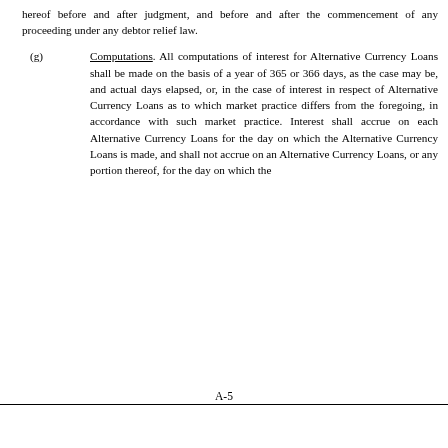hereof before and after judgment, and before and after the commencement of any proceeding under any debtor relief law.
(g) Computations. All computations of interest for Alternative Currency Loans shall be made on the basis of a year of 365 or 366 days, as the case may be, and actual days elapsed, or, in the case of interest in respect of Alternative Currency Loans as to which market practice differs from the foregoing, in accordance with such market practice. Interest shall accrue on each Alternative Currency Loans for the day on which the Alternative Currency Loans is made, and shall not accrue on an Alternative Currency Loans, or any portion thereof, for the day on which the
A-5